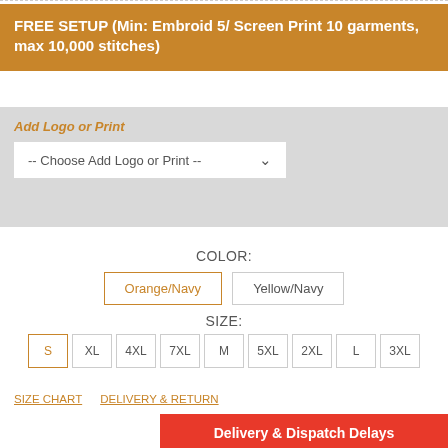FREE SETUP (Min: Embroid 5/ Screen Print 10 garments, max 10,000 stitches)
Add Logo or Print
-- Choose Add Logo or Print --
COLOR:
Orange/Navy
Yellow/Navy
SIZE:
S XL 4XL 7XL M 5XL 2XL L 3XL
SIZE CHART
DELIVERY & RETURN
Delivery & Dispatch Delays